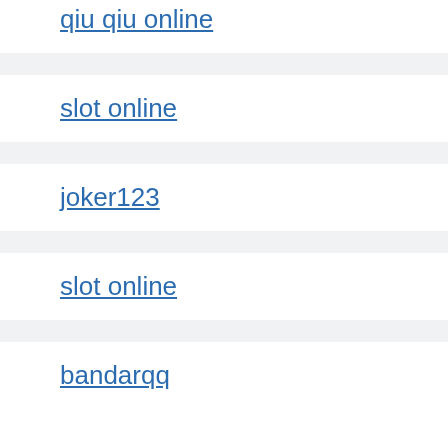qiu qiu online
slot online
joker123
slot online
bandarqq